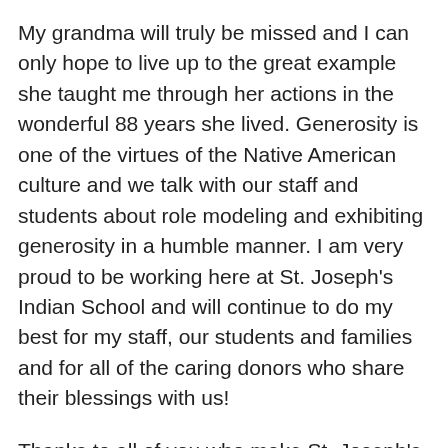My grandma will truly be missed and I can only hope to live up to the great example she taught me through her actions in the wonderful 88 years she lived. Generosity is one of the virtues of the Native American culture and we talk with our staff and students about role modeling and exhibiting generosity in a humble manner. I am very proud to be working here at St. Joseph's Indian School and will continue to do my best for my staff, our students and families and for all of the caring donors who share their blessings with us!
Thanks to all of you who make St. Joseph's possible and Thank You Grandma for everything you did and still do for me and I will always keep your memory alive in my heart.
God Bless,